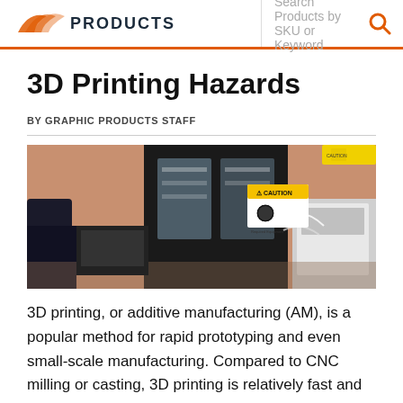GRAPHIC PRODUCTS — Search Products by SKU or Keyword
3D Printing Hazards
BY GRAPHIC PRODUCTS STAFF
[Figure (photo): A 3D printing lab room showing a CAUTION sign on a salmon/peach-colored wall, a large black enclosed 3D printer with transparent door panels, and additional printing equipment. Yellow product boxes visible on a shelf in the upper right.]
3D printing, or additive manufacturing (AM), is a popular method for rapid prototyping and even small-scale manufacturing. Compared to CNC milling or casting, 3D printing is relatively fast and inexpensive. 3D printing